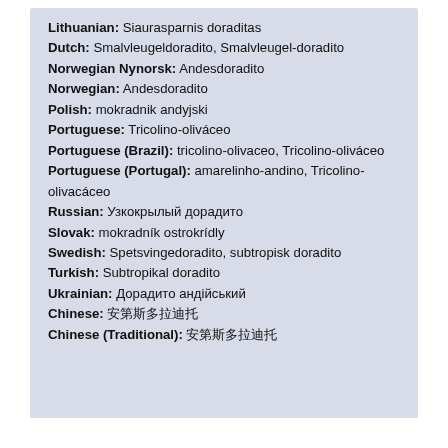Lithuanian: Siaurasparnis doraditas
Dutch: Smalvleugeldoradito, Smalvleugel-doradito
Norwegian Nynorsk: Andesdoradito
Norwegian: Andesdoradito
Polish: mokradnik andyjski
Portuguese: Tricolino-oliváceo
Portuguese (Brazil): tricolino-olivaceo, Tricolino-oliváceo
Portuguese (Portugal): amarelinho-andino, Tricolino-olivacáceo
Russian: Узкокрылый дорадито
Slovak: mokradník ostrokrídly
Swedish: Spetsvingedoradito, subtropisk doradito
Turkish: Subtropikal doradito
Ukrainian: Дорадито андійський
Chinese: 安第斯多拉迪托
Chinese (Traditional): 安第斯多拉迪托